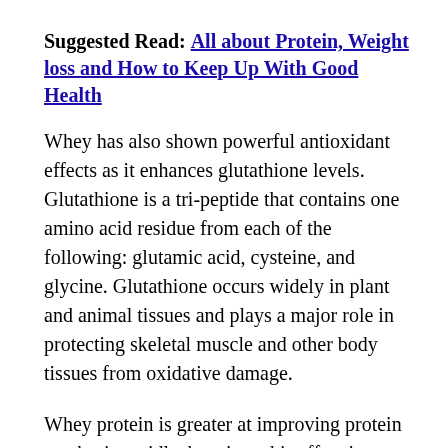Suggested Read: All about Protein, Weight loss and How to Keep Up With Good Health
Whey has also shown powerful antioxidant effects as it enhances glutathione levels. Glutathione is a tri-peptide that contains one amino acid residue from each of the following: glutamic acid, cysteine, and glycine. Glutathione occurs widely in plant and animal tissues and plays a major role in protecting skeletal muscle and other body tissues from oxidative damage.
Whey protein is greater at improving protein synthesis rapidly, but since this effect is short-